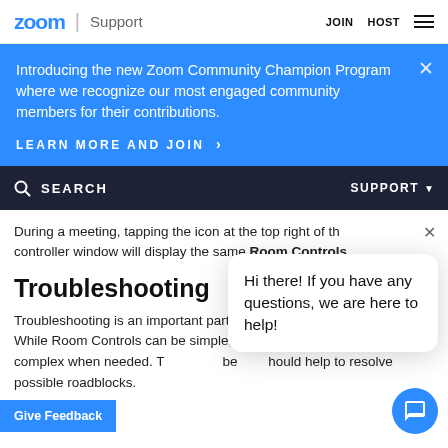zoom | Support   JOIN   HOST
Introducing the new Zoom Community Champion Program where we recognize our most engaged community members for their contributions.
LEARN MORE AND JOIN >
SEARCH   SUPPORT
During a meeting, tapping the icon at the top right of the controller window will display the same Room Controls.
Troubleshooting
Hi there! If you have any questions, we are here to help!
Troubleshooting is an important part in any custom configuration. While Room Controls can be simple, also flexible enough to be complex when needed. The below should help to resolve possible roadblocks.
Give Feedback